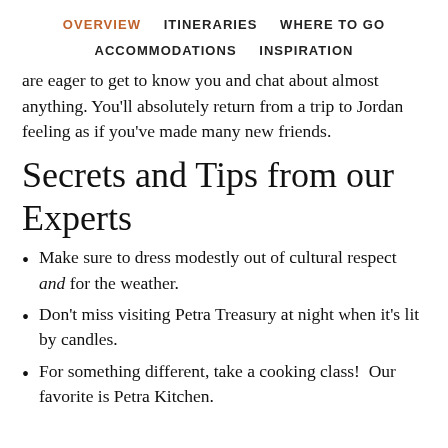OVERVIEW   ITINERARIES   WHERE TO GO   ACCOMMODATIONS   INSPIRATION
are eager to get to know you and chat about almost anything. You'll absolutely return from a trip to Jordan feeling as if you've made many new friends.
Secrets and Tips from our Experts
Make sure to dress modestly out of cultural respect and for the weather.
Don't miss visiting Petra Treasury at night when it's lit by candles.
For something different, take a cooking class!  Our favorite is Petra Kitchen.